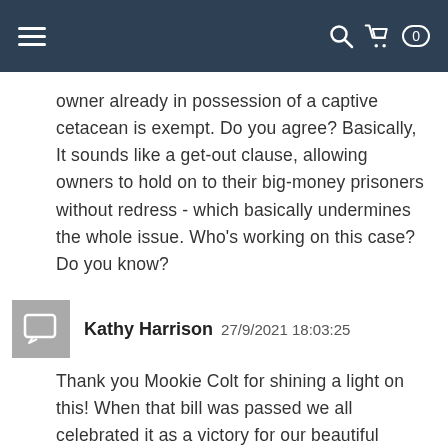owner already in possession of a captive cetacean is exempt. Do you agree? Basically, It sounds like a get-out clause, allowing owners to hold on to their big-money prisoners without redress - which basically undermines the whole issue. Who's working on this case? Do you know?
Kathy Harrison  27/9/2021 18:03:25
Thank you Mookie Colt for shining a light on this! When that bill was passed we all celebrated it as a victory for our beautiful cetaceans being held in captivity. I know I thought that this is a real coup for anti